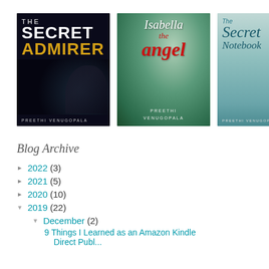[Figure (illustration): Three book covers by Preethi Venugopala: 'The Secret Admirer' (dark cover with woman at computer), 'Isabella the Angel' (white feathery wings, woman figure), 'The Secret Notebook' (young woman holding paper, teal background).]
Blog Archive
► 2022 (3)
► 2021 (5)
► 2020 (10)
▼ 2019 (22)
▼ December (2)
9 Things I Learned as an Amazon Kindle Direct Publ...